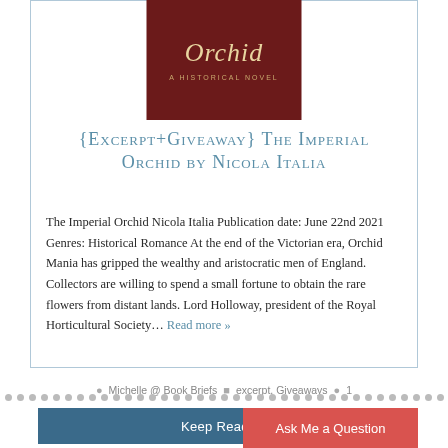[Figure (illustration): Book cover for 'The Imperial Orchid – A Historical Novel' with dark red background and golden decorative elements, title in cursive gold lettering]
{Excerpt+Giveaway} The Imperial Orchid by Nicola Italia
The Imperial Orchid Nicola Italia Publication date: June 22nd 2021 Genres: Historical Romance At the end of the Victorian era, Orchid Mania has gripped the wealthy and aristocratic men of England. Collectors are willing to spend a small fortune to obtain the rare flowers from distant lands. Lord Holloway, president of the Royal Horticultural Society… Read more »
Michelle @ Book Briefs   excerpt, Giveaways   1
Keep Reading
Ask Me a Question